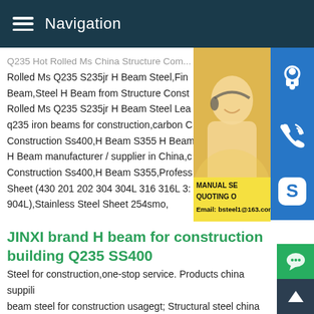Navigation
Q235 Hot Rolled Ms China Structure Com... Rolled Ms Q235 S235jr H Beam Steel,Fin Beam,Steel H Beam from Structure Const Rolled Ms Q235 S235jr H Beam Steel Lea q235 iron beams for construction,carbon C Construction Ss400,H Beam S355 H Beam H Beam manufacturer / supplier in China,c Construction Ss400,H Beam S355,Profess Sheet (430 201 202 304 304L 316 316L 3: 904L),Stainless Steel Sheet 254smo,
[Figure (photo): Customer service representative photo with headset, alongside blue icon buttons for support (headset, phone, Skype) and a yellow overlay showing MANUAL SERVICE, QUOTING ON, Email: bsteel1@163.com]
JINXI brand H beam for construction building Q235 SS400
Steel for construction,one-stop service. Products china suppli beam steel for construction usagegt; Structural steel china sup h beam steel for construction usagegt; H beam china suppliement beam steel for construction usagegt; JINXI brand H beam for